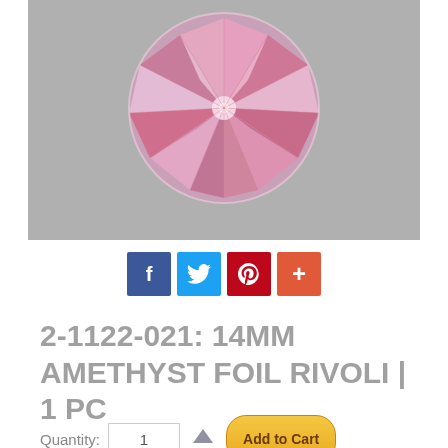[Figure (photo): Close-up photograph of a pink/amethyst faceted rivoli crystal gemstone on a gray background, showing radial faceting pattern from top view]
[Figure (infographic): Social sharing buttons: Facebook (blue, f), Twitter (blue, bird icon), Pinterest (red, P), Google+ or share (orange-red, +)]
2-1122-021: 14MM AMETHYST FOIL RIVOLI | 1 PC
Quantity: 1  Add to Cart